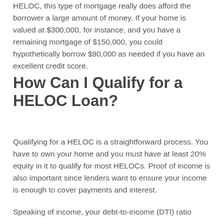HELOC, this type of mortgage really does afford the borrower a large amount of money. If your home is valued at $300,000, for instance, and you have a remaining mortgage of $150,000, you could hypothetically borrow $90,000 as needed if you have an excellent credit score.
How Can I Qualify for a HELOC Loan?
Qualifying for a HELOC is a straightforward process. You have to own your home and you must have at least 20% equity in it to qualify for most HELOCs. Proof of income is also important since lenders want to ensure your income is enough to cover payments and interest.
Speaking of income, your debt-to-income (DTI) ratio